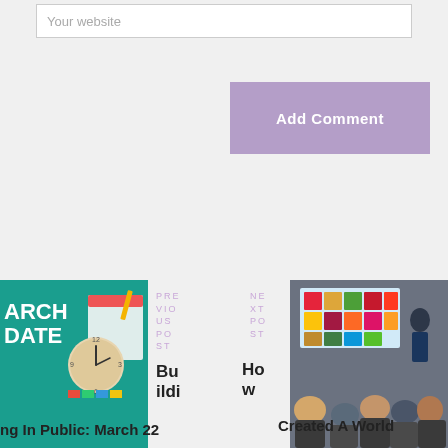Your website
Add Comment
[Figure (photo): Teal/green background with clock and calendar items, text overlay reading ARCH DATE]
PREVIOUS POST
NEXT POST
Building In Public: March 22
[Figure (photo): Conference room photo with SDG icons on screen and audience]
How A Bad Day In Court Created A World